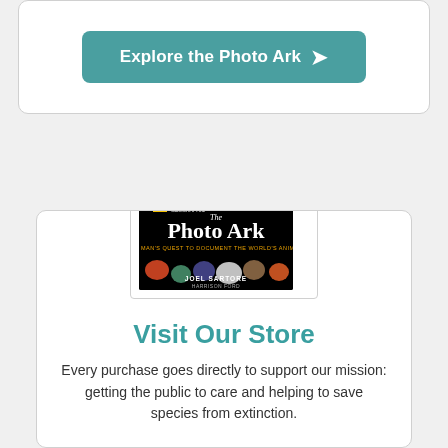[Figure (other): Teal/green rounded button labeled 'Explore the Photo Ark' with a right-pointing arrow, inside a white card]
[Figure (photo): Book cover of 'The Photo Ark' by Joel Sartore, National Geographic, showing various animals on a black background. Subtitle: One Man's Quest to Document the World's Animals. Foreword by Harrison Ford.]
Visit Our Store
Every purchase goes directly to support our mission: getting the public to care and helping to save species from extinction.